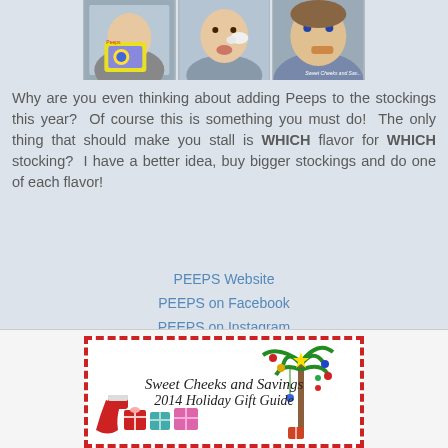[Figure (photo): Three photos side by side: child holding Peeps Minions package, child eating a white Peeps candy, woman eating a brown Peeps candy with watermark Sweet Cheeks and Savings]
Why are you even thinking about adding Peeps to the stockings this year?  Of course this is something you must do!  The only thing that should make you stall is WHICH flavor for WHICH stocking?  I have a better idea, buy bigger stockings and do one of each flavor!
PEEPS Website
PEEPS on Facebook
PEEPS on Instagram
PEEPS on Twitter
[Figure (illustration): Sweet Cheeks and Savings 2014 Holiday Gift Guide banner with red dashed border, decorative gifts, stocking, and palm tree with Christmas ornaments]